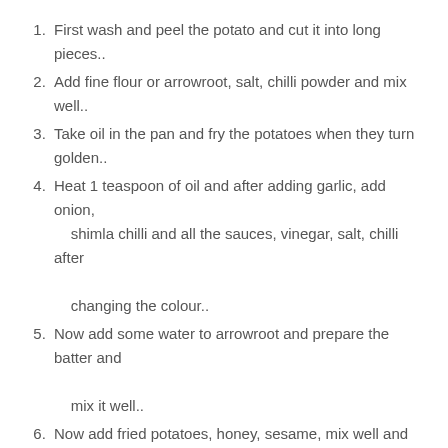First wash and peel the potato and cut it into long pieces..
Add fine flour or arrowroot, salt, chilli powder and mix well..
Take oil in the pan and fry the potatoes when they turn golden..
Heat 1 teaspoon of oil and after adding garlic, add onion, shimla chilli and all the sauces, vinegar, salt, chilli after changing the colour..
Now add some water to arrowroot and prepare the batter and mix it well..
Now add fried potatoes, honey, sesame, mix well and turn off the gas..
Potato honey chilli is ready. Now serve with rice and chapati..
Honey Chilli Potatoes- Crispy, juicy the most tantalizing sweet chilli sauce that everyone will go crazy! Honey chilli potato is a very tasty and one of a kind dish where regular chilli potato is made sweet and spicy by adding honey. Finely a good dose of sesame seeds are added for crunch. Honey Chilli Potato, a delicious Indo-